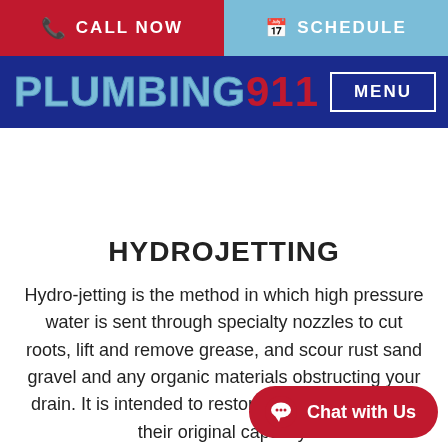CALL NOW | SCHEDULE
[Figure (logo): PLUMBING911 logo with MENU button on dark blue navigation bar]
HYDROJETTING
Hydro-jetting is the method in which high pressure water is sent through specialty nozzles to cut roots, lift and remove grease, and scour rust sand gravel and any organic materials obstructing your drain. It is intended to restore your drain pipes to their original capacity.